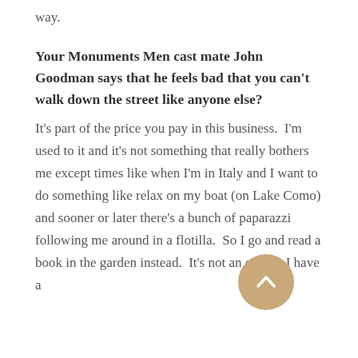way.
Your Monuments Men cast mate John Goodman says that he feels bad that you can't walk down the street like anyone else?
It's part of the price you pay in this business.  I'm used to it and it's not something that really bothers me except times like when I'm in Italy and I want to do something like relax on my boat (on Lake Como) and sooner or later there's a bunch of paparazzi following me around in a flotilla.  So I go and read a book in the garden instead.  It's not an ordeal, I have a